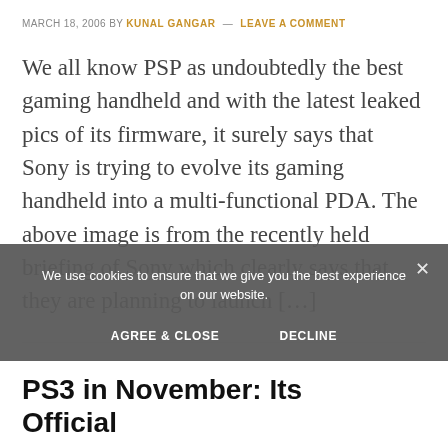MARCH 18, 2006 BY KUNAL GANGAR — LEAVE A COMMENT
We all know PSP as undoubtedly the best gaming handheld and with the latest leaked pics of its firmware, it surely says that Sony is trying to evolve its gaming handheld into a multi-functional PDA. The above image is from the recently held briefing of Sony which clearly says that they are planning to launch […]
FILED UNDER: GAMING
We use cookies to ensure that we give you the best experience on our website.
AGREE & CLOSE   DECLINE
PS3 in November: Its Official